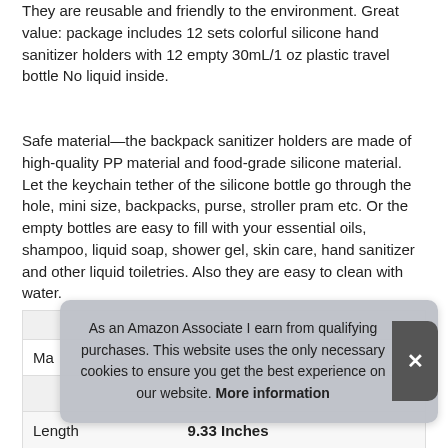They are reusable and friendly to the environment. Great value: package includes 12 sets colorful silicone hand sanitizer holders with 12 empty 30mL/1 oz plastic travel bottle No liquid inside.
Safe material—the backpack sanitizer holders are made of high-quality PP material and food-grade silicone material. Let the keychain tether of the silicone bottle go through the hole, mini size, backpacks, purse, stroller pram etc. Or the empty bottles are easy to fill with your essential oils, shampoo, liquid soap, shower gel, skin care, hand sanitizer and other liquid toiletries. Also they are easy to clean with water.
| Ma |  |
| --- | --- |
| Length | 9.33 Inches |
As an Amazon Associate I earn from qualifying purchases. This website uses the only necessary cookies to ensure you get the best experience on our website. More information